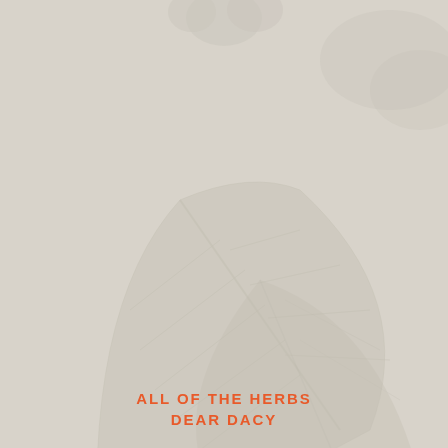[Figure (illustration): Large pale sage-green leaf with visible veins overlaid on a warm beige-grey background, with a partial flower or foliage visible at the top center. The leaf image is very light and washed out, used as a decorative background element.]
ALL OF THE HERBS
DEAR DACY